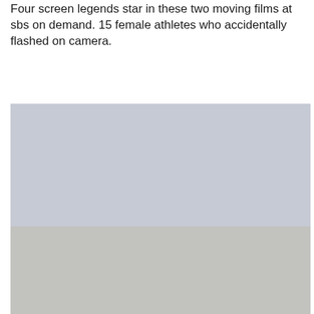Four screen legends star in these two moving films at sbs on demand. 15 female athletes who accidentally flashed on camera.
[Figure (photo): Two stacked rectangular image placeholders. The upper portion is a light blue-grey color and the lower portion is a slightly darker grey color, both filling the width of the page.]